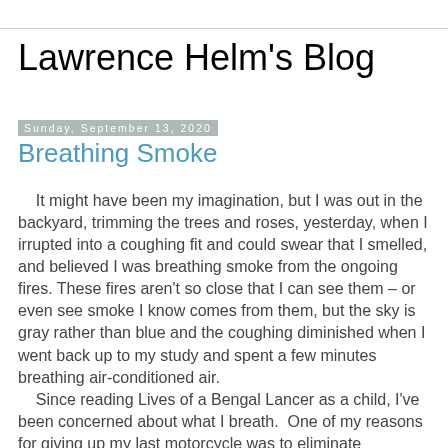Lawrence Helm's Blog
Sunday, September 13, 2020
Breathing Smoke
It might have been my imagination, but I was out in the backyard, trimming the trees and roses, yesterday, when I irrupted into a coughing fit and could swear that I smelled, and believed I was breathing smoke from the ongoing fires. These fires aren't so close that I can see them – or even see smoke I know comes from them, but the sky is gray rather than blue and the coughing diminished when I went back up to my study and spent a few minutes breathing air-conditioned air.
    Since reading Lives of a Bengal Lancer as a child, I've been concerned about what I breath.  One of my reasons for giving up my last motorcycle was to eliminate breathing gas fumes while filling the tank.
    In the 50s, The Conquerors, featuring John Wayne and